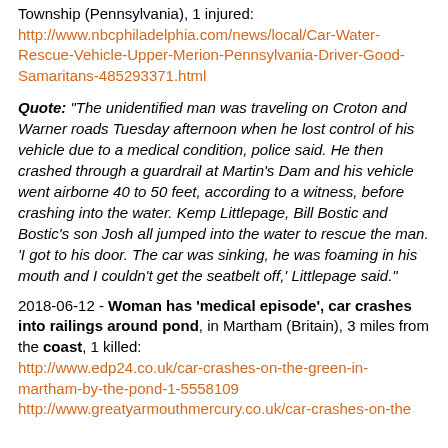Township (Pennsylvania), 1 injured: http://www.nbcphiladelphia.com/news/local/Car-Water-Rescue-Vehicle-Upper-Merion-Pennsylvania-Driver-Good-Samaritans-485293371.html
Quote: "The unidentified man was traveling on Croton and Warner roads Tuesday afternoon when he lost control of his vehicle due to a medical condition, police said. He then crashed through a guardrail at Martin's Dam and his vehicle went airborne 40 to 50 feet, according to a witness, before crashing into the water. Kemp Littlepage, Bill Bostic and Bostic's son Josh all jumped into the water to rescue the man. 'I got to his door. The car was sinking, he was foaming in his mouth and I couldn't get the seatbelt off,' Littlepage said."
2018-06-12 - Woman has 'medical episode', car crashes into railings around pond, in Martham (Britain), 3 miles from the coast, 1 killed: http://www.edp24.co.uk/car-crashes-on-the-green-in-martham-by-the-pond-1-5558109 http://www.greatyarmouthmercury.co.uk/car-crashes-on-the